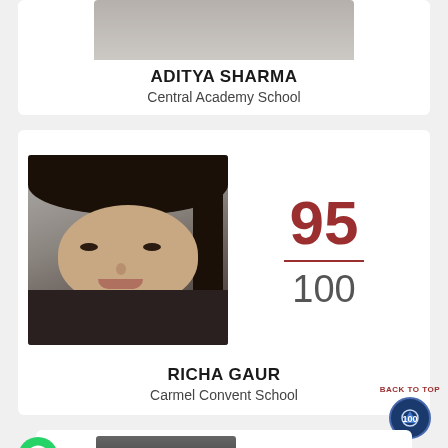[Figure (photo): Partial photo of Aditya Sharma at top of page]
ADITYA SHARMA
Central Academy School
[Figure (photo): Portrait photo of Richa Gaur, female student]
95 / 100
RICHA GAUR
Carmel Convent School
[Figure (photo): Partial photo of next student at bottom of page]
[Figure (logo): Back to top button with shield/badge icon]
[Figure (logo): WhatsApp icon bottom left]